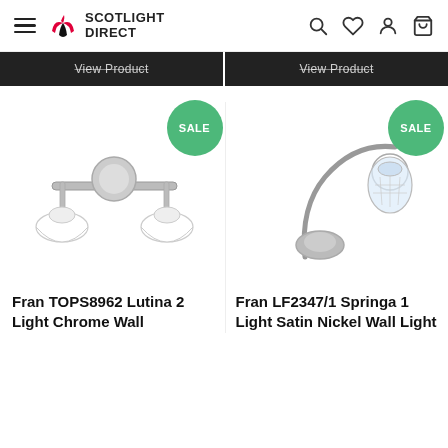Scotlight Direct — navigation header with hamburger menu, logo, search, wishlist, account, and cart icons
View Product (two buttons)
[Figure (photo): Fran TOPS8962 Lutina 2 Light Chrome Wall light with white glass shades on a chrome bar bracket, SALE badge]
[Figure (photo): Fran LF2347/1 Springa 1 Light Satin Nickel Wall Light with crystal-effect shade and curved arm, SALE badge]
Fran TOPS8962 Lutina 2 Light Chrome Wall
Fran LF2347/1 Springa 1 Light Satin Nickel Wall Light